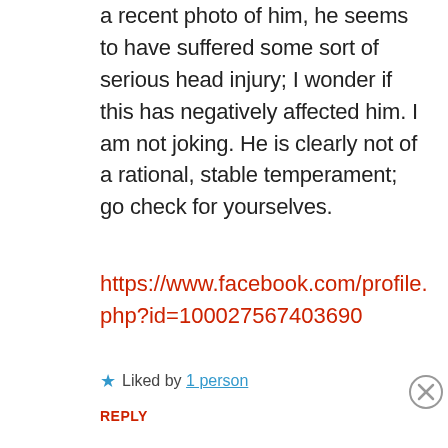a recent photo of him, he seems to have suffered some sort of serious head injury; I wonder if this has negatively affected him. I am not joking. He is clearly not of a rational, stable temperament; go check for yourselves.
https://www.facebook.com/profile.php?id=100027567403690
★ Liked by 1 person
REPLY
Advertisements